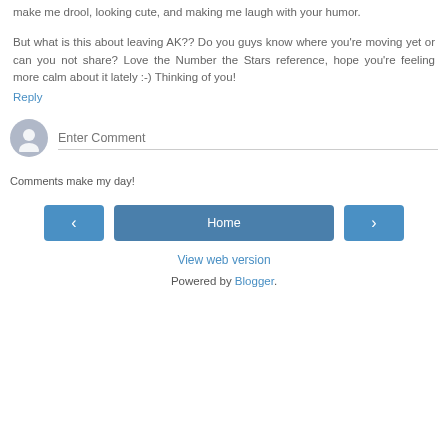make me drool, looking cute, and making me laugh with your humor.
But what is this about leaving AK?? Do you guys know where you're moving yet or can you not share? Love the Number the Stars reference, hope you're feeling more calm about it lately :-) Thinking of you!
Reply
[Figure (other): Comment input area with avatar icon and 'Enter Comment' placeholder text field]
Comments make my day!
[Figure (other): Navigation buttons: left arrow, Home, right arrow]
View web version
Powered by Blogger.